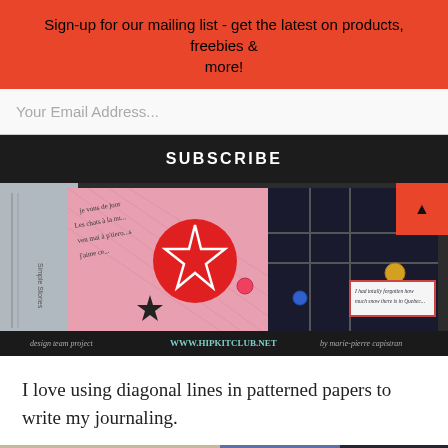Sign-up for our mailing list - get the latest on products, freebies & more!
Your Email Address...
SUBSCRIBE
[Figure (photo): Scrapbook collage with star emblem, handwritten journaling on pink patterned paper, dark photo of fence/landscape, colorful buttons/sequins, label with text 'I had totally forgotten how much snow there is in Quebec...'. Bottom bar reads: design team project | WWW.HIPKITCLUB.NET | by marie-pierre capistran]
I love using diagonal lines in patterned papers to write my journaling.
[Figure (photo): Bottom portion of another scrapbook page with handwritten journaling, 'cold hands and warm heart' label, red pen, blue sequins, and dark photo panel.]